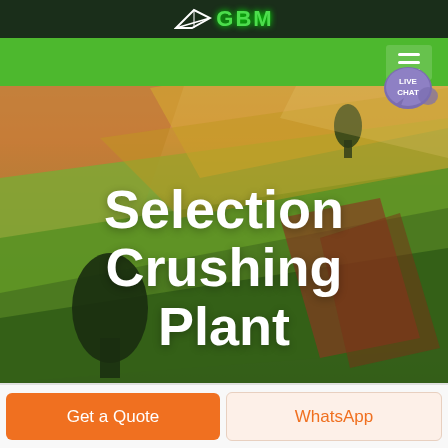[Figure (logo): GBM company logo with leaf icon on dark green header bar]
[Figure (screenshot): Green navigation bar with hamburger menu icon on the right]
[Figure (illustration): Live chat speech bubble icon with text LIVE CHAT in blue-purple color]
[Figure (photo): Aerial photo of green and golden agricultural fields with dramatic lighting and two dark tree shapes]
Selection Crushing Plant
Get a Quote
WhatsApp